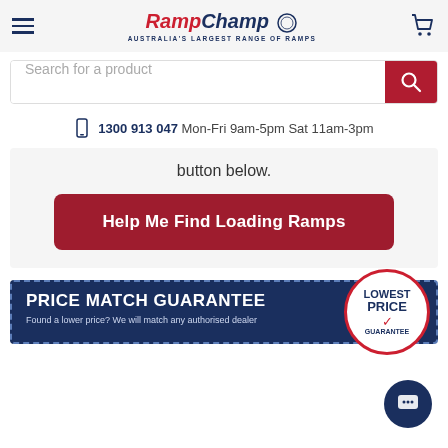[Figure (logo): RampChamp logo with red RAMP and navy CHAMP text, Australia's Largest Range of Ramps tagline, with laurel wreath icon]
[Figure (screenshot): Search bar with placeholder 'Search for a product' and red search button]
1300 913 047 Mon-Fri 9am-5pm Sat 11am-3pm
button below.
Help Me Find Loading Ramps
[Figure (infographic): Price Match Guarantee banner in navy blue with dashed border. Text: PRICE MATCH GUARANTEE. Found a lower price? We will match any authorised dealer. Circular badge on right: LOWEST PRICE GUARANTEE with red checkmark.]